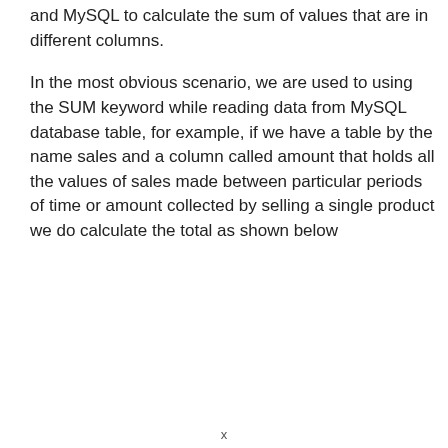and MySQL to calculate the sum of values that are in different columns.
In the most obvious scenario, we are used to using the SUM keyword while reading data from MySQL database table, for example, if we have a table by the name sales and a column called amount that holds all the values of sales made between particular periods of time or amount collected by selling a single product we do calculate the total as shown below
x